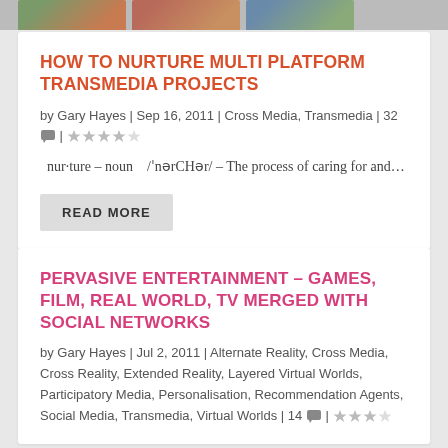[Figure (photo): Partial thumbnail strip of three images at the top of the page]
HOW TO NURTURE MULTI PLATFORM TRANSMEDIA PROJECTS
by Gary Hayes | Sep 16, 2011 | Cross Media, Transmedia | 32 💬 | ★★★★☆
nur·ture – noun  /ˈnərCHər/ – The process of caring for and…
READ MORE
PERVASIVE ENTERTAINMENT – GAMES, FILM, REAL WORLD, TV MERGED WITH SOCIAL NETWORKS
by Gary Hayes | Jul 2, 2011 | Alternate Reality, Cross Media, Cross Reality, Extended Reality, Layered Virtual Worlds, Participatory Media, Personalisation, Recommendation Agents, Social Media, Transmedia, Virtual Worlds | 14 💬 | ★★★★☆